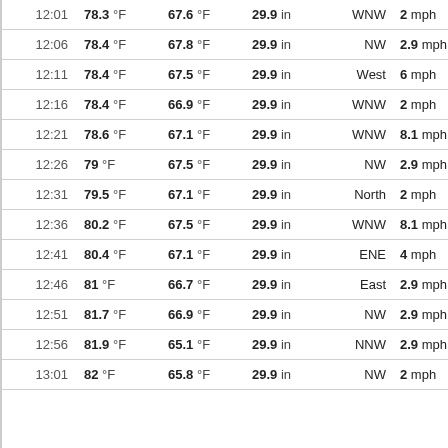| Time | Temp | Dew Point | Pressure | Wind Dir | Wind Speed |
| --- | --- | --- | --- | --- | --- |
| 12:01 | 78.3 °F | 67.6 °F | 29.9 in | WNW | 2 mph |
| 12:06 | 78.4 °F | 67.8 °F | 29.9 in | NW | 2.9 mph |
| 12:11 | 78.4 °F | 67.5 °F | 29.9 in | West | 6 mph |
| 12:16 | 78.4 °F | 66.9 °F | 29.9 in | WNW | 2 mph |
| 12:21 | 78.6 °F | 67.1 °F | 29.9 in | WNW | 8.1 mph |
| 12:26 | 79 °F | 67.5 °F | 29.9 in | NW | 2.9 mph |
| 12:31 | 79.5 °F | 67.1 °F | 29.9 in | North | 2 mph |
| 12:36 | 80.2 °F | 67.5 °F | 29.9 in | WNW | 8.1 mph |
| 12:41 | 80.4 °F | 67.1 °F | 29.9 in | ENE | 4 mph |
| 12:46 | 81 °F | 66.7 °F | 29.9 in | East | 2.9 mph |
| 12:51 | 81.7 °F | 66.9 °F | 29.9 in | NW | 2.9 mph |
| 12:56 | 81.9 °F | 65.1 °F | 29.9 in | NNW | 2.9 mph |
| 13:01 | 82 °F | 65.8 °F | 29.9 in | NW | 2 mph |